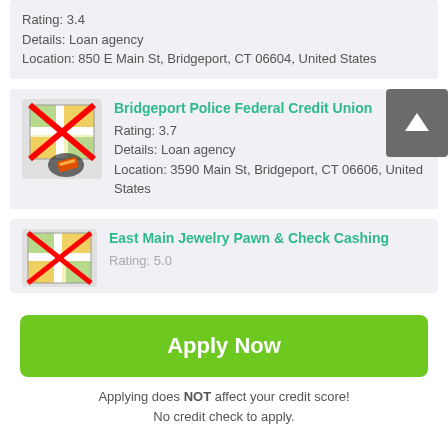Rating: 3.4
Details: Loan agency
Location: 850 E Main St, Bridgeport, CT 06604, United States
Bridgeport Police Federal Credit Union
Rating: 3.7
Details: Loan agency
Location: 3590 Main St, Bridgeport, CT 06606, United States
East Main Jewelry Pawn & Check Cashing
Rating: 5.0
Apply Now
Applying does NOT affect your credit score!
No credit check to apply.